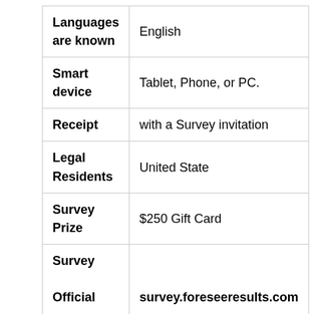| Languages are known | English |
| Smart device | Tablet, Phone, or PC. |
| Receipt | with a Survey invitation |
| Legal Residents | United State |
| Survey Prize | $250 Gift Card |
| Survey Official Website | survey.foreseeresults.com |